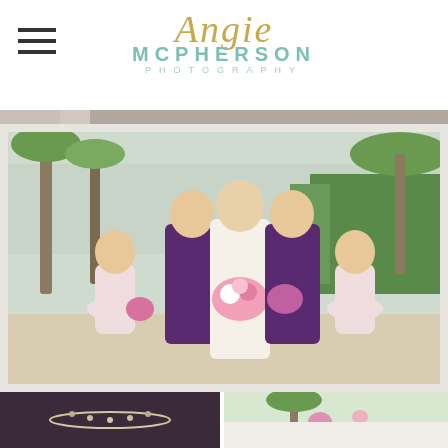Angie McPherson Photography - navigation header with hamburger menu and logo
[Figure (photo): Wedding party photo: bride in white strapless gown holding pink and white bouquet, flanked by two bridesmaids in purple one-shoulder dresses, and two flower girls in light pink dresses. Outdoor beach/tropical setting with palm trees and green hedges in background.]
[Figure (photo): Bottom strip showing partial close-up photos: left image shows jewelry detail on a dark dress, right image shows a palm tree scene with pink flowers.]